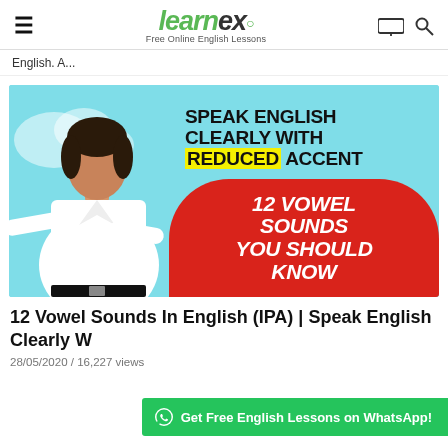learnex — Free Online English Lessons
English. A...
[Figure (photo): Thumbnail image showing a young man in a white shirt gesturing, with text overlay: 'Speak English Clearly With Reduced Accent' and '12 Vowel Sounds You Should Know' on a light blue and red background.]
12 Vowel Sounds In English (IPA) | Speak English Clearly W
28/05/2020  /  16,227 views
Get Free English Lessons on WhatsApp!